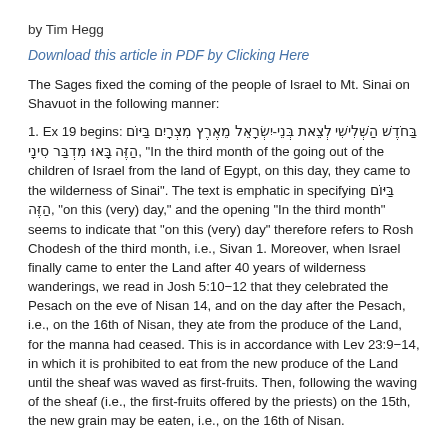by Tim Hegg
Download this article in PDF by Clicking Here
The Sages fixed the coming of the people of Israel to Mt. Sinai on Shavuot in the following manner:
1. Ex 19 begins: בַּחֹדֶשׁ הַשְּׁלִישִׁי לְצֵאת בְּנֵי-יִשְׂרָאֵל מֵאֶרֶץ מִצְרָיִם בַּיּוֹם הַזֶּה בָּאוּ מִדְבַּר סִינָי, "In the third month of the going out of the children of Israel from the land of Egypt, on this day, they came to the wilderness of Sinai". The text is emphatic in specifying בַּיּוֹם הַזֶּה, "on this (very) day," and the opening "In the third month" seems to indicate that "on this (very) day" therefore refers to Rosh Chodesh of the third month, i.e., Sivan 1. Moreover, when Israel finally came to enter the Land after 40 years of wilderness wanderings, we read in Josh 5:10−12 that they celebrated the Pesach on the eve of Nisan 14, and on the day after the Pesach, i.e., on the 16th of Nisan, they ate from the produce of the Land, for the manna had ceased. This is in accordance with Lev 23:9−14, in which it is prohibited to eat from the new produce of the Land until the sheaf was waved as first-fruits. Then, following the waving of the sheaf (i.e., the first-fruits offered by the priests) on the 15th, the new grain may be eaten, i.e., on the 16th of Nisan.